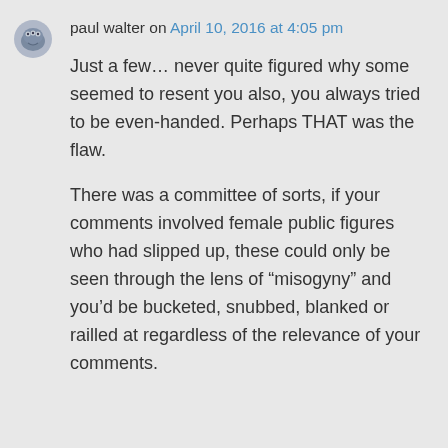paul walter on April 10, 2016 at 4:05 pm
Just a few… never quite figured why some seemed to resent you also, you always tried to be even-handed. Perhaps THAT was the flaw.
There was a committee of sorts, if your comments involved female public figures who had slipped up, these could only be seen through the lens of "misogyny" and you'd be bucketed, snubbed, blanked or railled at regardless of the relevance of your comments.